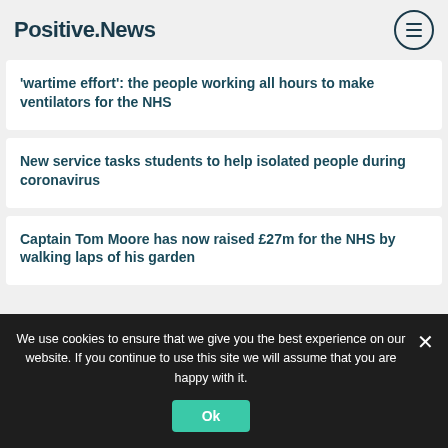Positive.News
'wartime effort': the people working all hours to make ventilators for the NHS
New service tasks students to help isolated people during coronavirus
Captain Tom Moore has now raised £27m for the NHS by walking laps of his garden
We use cookies to ensure that we give you the best experience on our website. If you continue to use this site we will assume that you are happy with it.